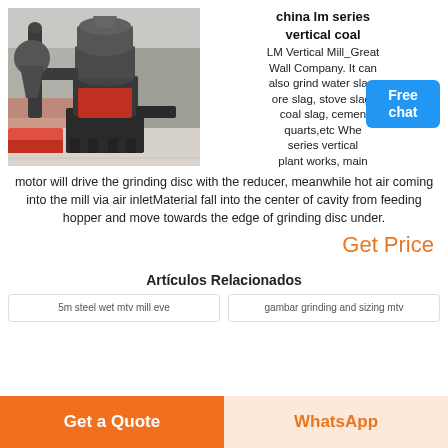[Figure (photo): Industrial vertical coal mill / grinding machine in a factory setting, large grey cylindrical machine with red components on a metal frame.]
china lm series vertical coal
LM Vertical Mill_Great Wall Company. It can also grind water slag, ore slag, stove slag, coal slag, cement, quarts,etc When series vertical mill plant works, main motor will drive the grinding disc with the reducer, meanwhile hot air coming into the mill via air inletMaterial fall into the center of cavity from feeding hopper and move towards the edge of grinding disc under.
Get Price
Artículos Relacionados
5m steel wet mtv mill eve
gambar grinding and sizing mtv
Get a Quote
WhatsApp